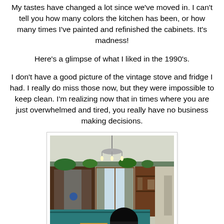My tastes have changed a lot since we've moved in. I can't tell you how many colors the kitchen has been, or how many times I've painted and refinished the cabinets. It's madness!
Here's a glimpse of what I liked in the 1990's.
I don't have a good picture of the vintage stove and fridge I had. I really do miss those now, but they were impossible to keep clean. I'm realizing now that in times where you are just overwhelmed and tired, you really have no business making decisions.
[Figure (photo): Interior kitchen photo from the 1990s showing wood cabinets with plants on top, a chandelier, teal/blue lower cabinets, curtained windows, and a person sitting at a wooden chair. Decorative ivy border near ceiling.]
Is this a Christmas shop? No, it's my kitchen! Can you say